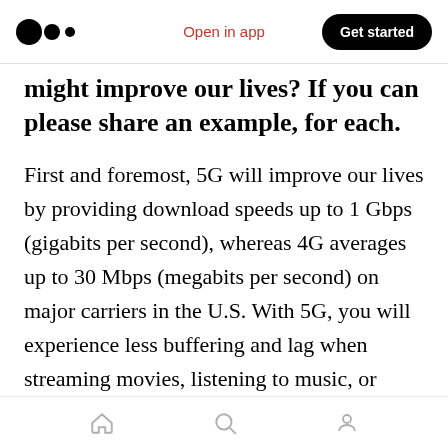Open in app | Get started
might improve our lives? If you can please share an example, for each.
First and foremost, 5G will improve our lives by providing download speeds up to 1 Gbps (gigabits per second), whereas 4G averages up to 30 Mbps (megabits per second) on major carriers in the U.S. With 5G, you will experience less buffering and lag when streaming movies, listening to music, or playing video games. Gone will be the days when going out in public will make you wish you had downloaded that file or offline map
Home | Search | Profile